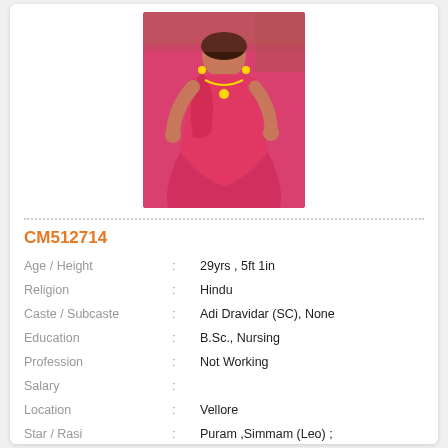[Figure (photo): Woman in red/pink traditional Indian gown dress, standing outdoors]
CM512714
| Field | Separator | Value |
| --- | --- | --- |
| Age / Height | : | 29yrs , 5ft 1in |
| Religion | : | Hindu |
| Caste / Subcaste | : | Adi Dravidar (SC), None |
| Education | : | B.Sc., Nursing |
| Profession | : | Not Working |
| Salary | : |  |
| Location | : | Vellore |
| Star / Rasi | : | Puram ,Simmam (Leo) ; |
View Contact
View Full Profile